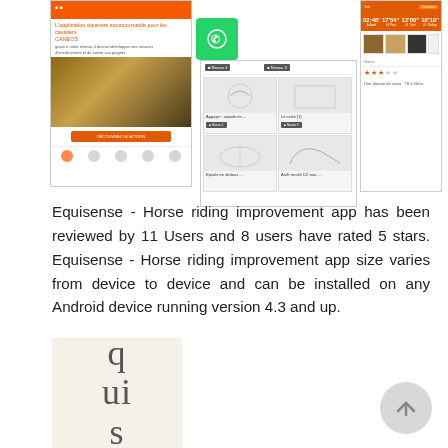[Figure (screenshot): Social media share buttons: Facebook (blue), Twitter (light blue), Email (grey), WhatsApp (green)]
[Figure (screenshot): Three mobile app screenshots of Equisense - Horse riding improvement app showing exercise screens, menus, and statistics]
Equisense - Horse riding improvement app has been reviewed by 11 Users and 8 users have rated 5 stars. Equisense - Horse riding improvement app size varies from device to device and can be installed on any Android device running version 4.3 and up.
[Figure (screenshot): Partial thumbnail of app icon with rotated text showing 'Equise' vertically]